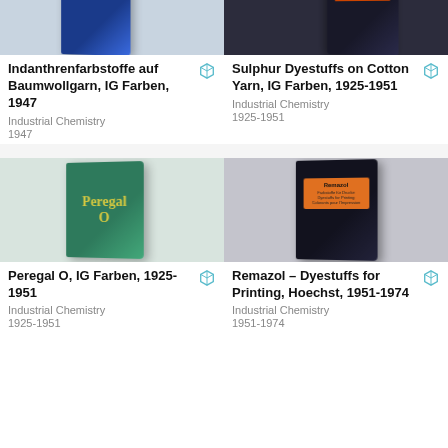[Figure (photo): Photo of a blue book cover (Indanthrenfarbstoffe auf Baumwollgarn, IG Farben, 1947) cropped at top]
[Figure (photo): Photo of a dark book cover (Sulphur Dyestuffs on Cotton Yarn, IG Farben, 1925-1951) cropped at top with orange/red stripe]
Indanthrenfarbstoffe auf Baumwollgarn, IG Farben, 1947
Industrial Chemistry
1947
Sulphur Dyestuffs on Cotton Yarn, IG Farben, 1925-1951
Industrial Chemistry
1925-1951
[Figure (photo): Photo of a green book cover titled Peregal O]
[Figure (photo): Photo of a black binder/book with orange label reading Remazol, Hoechst]
Peregal O, IG Farben, 1925-1951
Industrial Chemistry
1925-1951
Remazol – Dyestuffs for Printing, Hoechst, 1951-1974
Industrial Chemistry
1951-1974